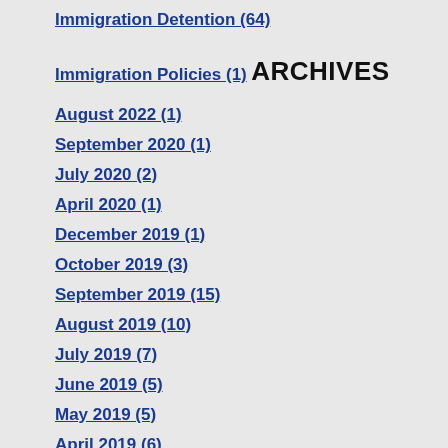Immigration Detention (64)
Immigration Policies (1)
ARCHIVES
August 2022 (1)
September 2020 (1)
July 2020 (2)
April 2020 (1)
December 2019 (1)
October 2019 (3)
September 2019 (15)
August 2019 (10)
July 2019 (7)
June 2019 (5)
May 2019 (5)
April 2019 (6)
March 2019 (6)